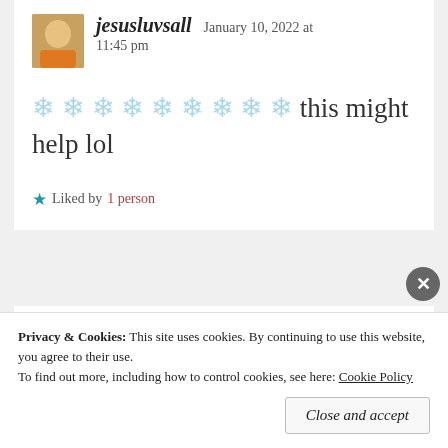jesusluvsall — January 10, 2022 at 11:45 pm
❄❄❄❄❄❄❄❄❄ this might help lol
★ Liked by 1 person
Privacy & Cookies: This site uses cookies. By continuing to use this website, you agree to their use. To find out more, including how to control cookies, see here: Cookie Policy
Close and accept